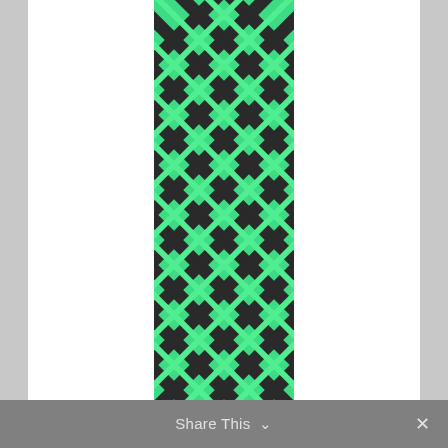[Figure (photo): Close-up photo of a braided rope showing green and dark gray/black diagonal weave pattern. The rope is vertical, occupying the upper portion of a white product card.]
RNA MOUNTAIN APE 9/16" RIGGING LINE
$1.06 – $636.00
SELECT OPTIONS
Share This ∨  ✕